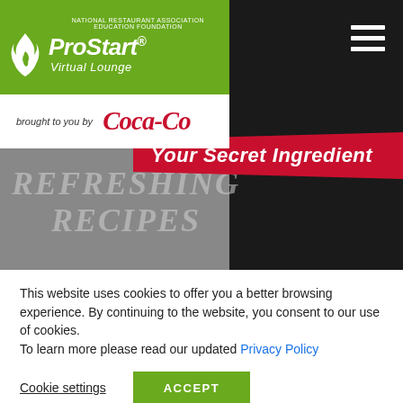[Figure (screenshot): ProStart Virtual Lounge website header with green logo bar, Coca-Cola sponsor bar, red ribbon with 'Your Secret Ingredient' text, and 'REFRESHING RECIPES' overlay on dark background. Cookie consent banner at bottom.]
This website uses cookies to offer you a better browsing experience. By continuing to the website, you consent to our use of cookies.
To learn more please read our updated Privacy Policy
Cookie settings
ACCEPT